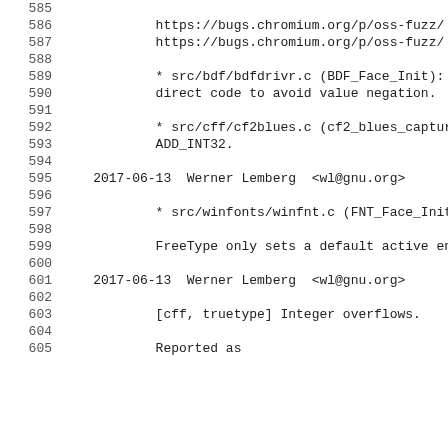585
586     https://bugs.chromium.org/p/oss-fuzz/
587     https://bugs.chromium.org/p/oss-fuzz/
588
589     * src/bdf/bdfdrivr.c (BDF_Face_Init): R
590     direct code to avoid value negation.
591
592     * src/cff/cf2blues.c (cf2_blues_capture
593     ADD_INT32.
594
595  2017-06-13  Werner Lemberg  <wl@gnu.org>
596
597     * src/winfonts/winfnt.c (FNT_Face_Init)
598
599     FreeType only sets a default active enc
600
601  2017-06-13  Werner Lemberg  <wl@gnu.org>
602
603     [cff, truetype] Integer overflows.
604
605     Reported as